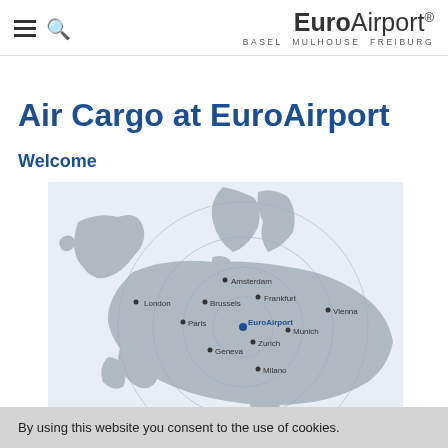EuroAirport. BASEL MULHOUSE FREIBURG
Air Cargo at EuroAirport
Welcome
[Figure (map): Map of Western Europe showing EuroAirport location at Basel/Mulhouse/Freiburg with concentric circles radiating outward to nearby cities: London, Paris, Brussels, Amsterdam, Frankfurt, Vienna, Munich, Zurich, Geneva, Milano]
By using this website you consent to the use of cookies.